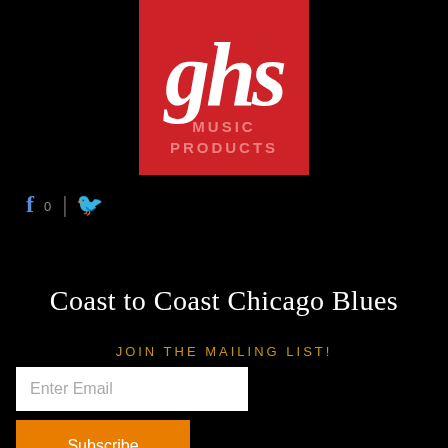[Figure (logo): GHS Music Products logo — red background with white italic 'ghs' lettering and 'MUSIC PRODUCTS' text below]
[Figure (infographic): Social media icons: Facebook icon with count '0' and Twitter bird icon, separated by a vertical divider]
Coast to Coast Chicago Blues
JOIN THE MAILING LIST!
Enter Email
Subscribe